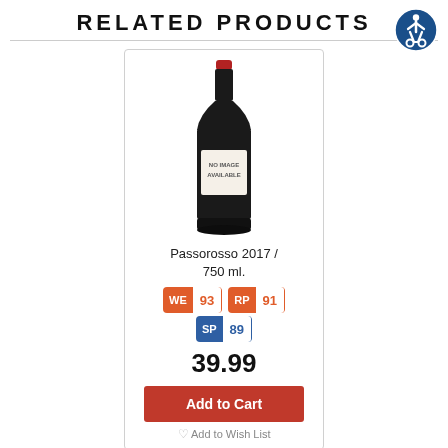RELATED PRODUCTS
[Figure (illustration): Accessibility icon: blue circle with white wheelchair accessible person symbol]
[Figure (photo): Wine bottle with red cap and label reading NO IMAGE AVAILABLE]
Passorosso 2017 / 750 ml.
WE 93  RP 91  SP 89
39.99
Add to Cart
Add to Wish List